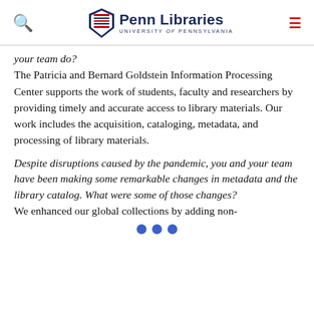Penn Libraries — University of Pennsylvania
your team do?
The Patricia and Bernard Goldstein Information Processing Center supports the work of students, faculty and researchers by providing timely and accurate access to library materials. Our work includes the acquisition, cataloging, metadata, and processing of library materials.
Despite disruptions caused by the pandemic, you and your team have been making some remarkable changes in metadata and the library catalog. What were some of those changes?
We enhanced our global collections by adding non-